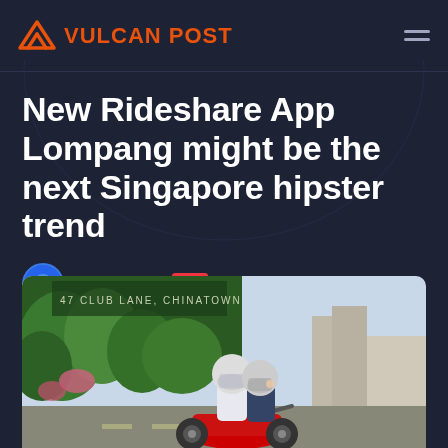VULCAN POST
New Rideshare App Lompang might be the next Singapore hipster trend
Khairul Jaffar • January 28, 2014
[Figure (photo): Two people wearing helmets riding a red motorcycle/scooter on a street in Singapore's Chinatown area, with green foliage and shophouses in the background]